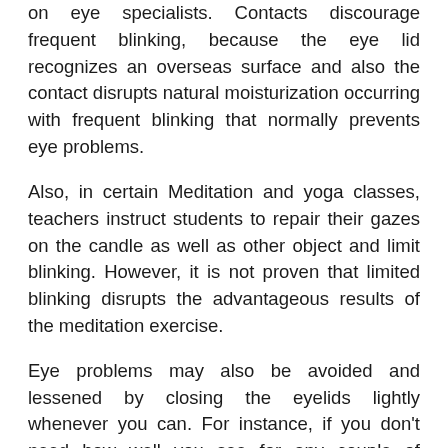on eye specialists. Contacts discourage frequent blinking, because the eye lid recognizes an overseas surface and also the contact disrupts natural moisturization occurring with frequent blinking that normally prevents eye problems.
Also, in certain Meditation and yoga classes, teachers instruct students to repair their gazes on the candle as well as other object and limit blinking. However, it is not proven that limited blinking disrupts the advantageous results of the meditation exercise.
Eye problems may also be avoided and lessened by closing the eyelids lightly whenever you can. For instance, if you don't need how well you see for any couple of moments, for example during promotions for television, close your vision. Also, when working in the computer, which may be stress on eyes, many people blink significantly less frequently or forget to blink. Turn it into a habit to consider frequent eyesight breaks and just close the eyelids from time to